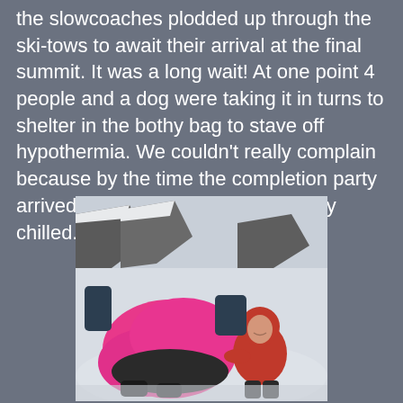the slowcoaches plodded up through the ski-tows to await their arrival at the final summit. It was a long wait! At one point 4 people and a dog were taking it in turns to shelter in the bothy bag to stave off hypothermia. We couldn't really complain because by the time the completion party arrived the champagne was properly chilled.
[Figure (photo): People on a snowy mountain summit, one person covered in a bright pink bothy bag/emergency shelter, another person wearing red clothing crouching nearby, rocky and snowy landscape in the background.]